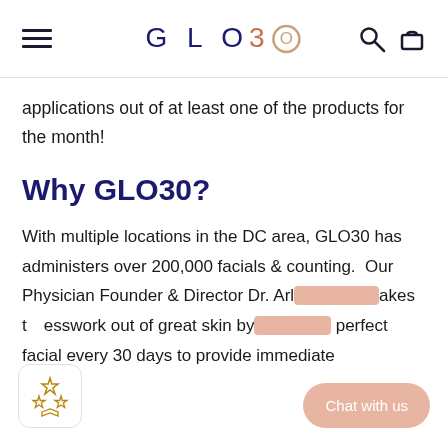GLO30 (navigation bar with hamburger menu, logo, search and cart icons)
applications out of at least one of the products for the month!
Why GLO30?
With multiple locations in the DC area, GLO30 has administers over 200,000 facials & counting.  Our Physician Founder & Director Dr. Arl[...] akes t[...]esswork out of great skin by [...] perfect facial every 30 days to provide immediate